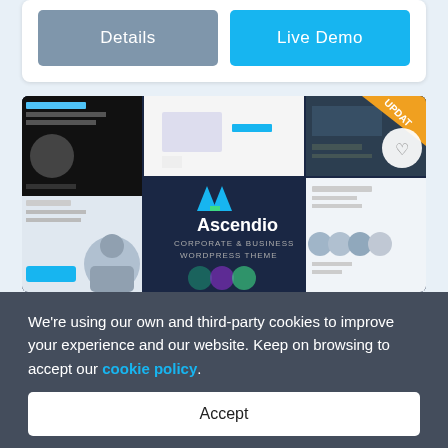[Figure (screenshot): Two buttons: Details (grey) and Live Demo (blue) inside a white card]
[Figure (screenshot): Ascendio Corporate & Business WordPress Theme product preview image collage with an UPDATE badge and heart icon, on a dark navy background]
We're using our own and third-party cookies to improve your experience and our website. Keep on browsing to accept our cookie policy.
Accept